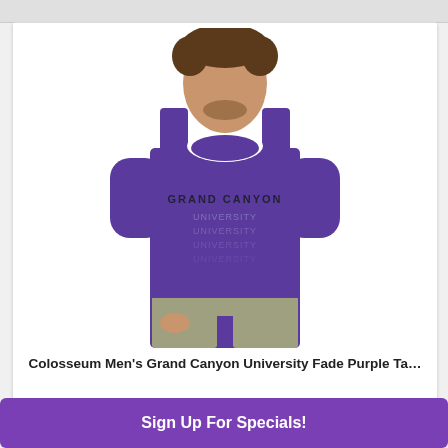[Figure (photo): A man wearing a purple Grand Canyon University tank top with 'GRAND CANYON UNIVERSITY' text in an arched repeating fade pattern on the chest. He is wearing khaki/grey shorts and has curly hair.]
Colosseum Men's Grand Canyon University Fade Purple Ta...
Sign Up For Specials!